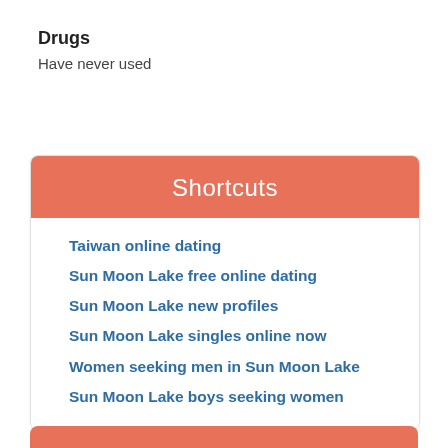Drugs
Have never used
Shortcuts
Taiwan online dating
Sun Moon Lake free online dating
Sun Moon Lake new profiles
Sun Moon Lake singles online now
Women seeking men in Sun Moon Lake
Sun Moon Lake boys seeking women